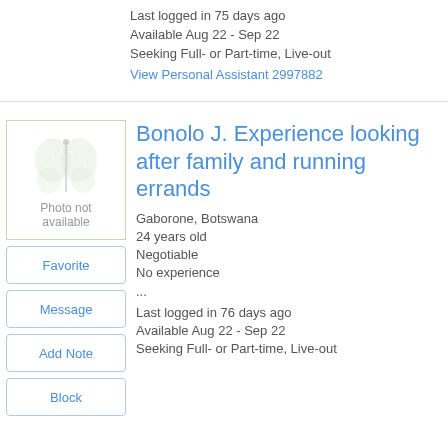Last logged in 75 days ago
Available Aug 22 - Sep 22
Seeking Full- or Part-time, Live-out
View Personal Assistant 2997882
[Figure (illustration): Placeholder image with butterfly watermark and text 'Photo not available']
Bonolo J. Experience looking after family and running errands
Gaborone, Botswana
24 years old
Negotiable
No experience
...
Last logged in 76 days ago
Available Aug 22 - Sep 22
Seeking Full- or Part-time, Live-out